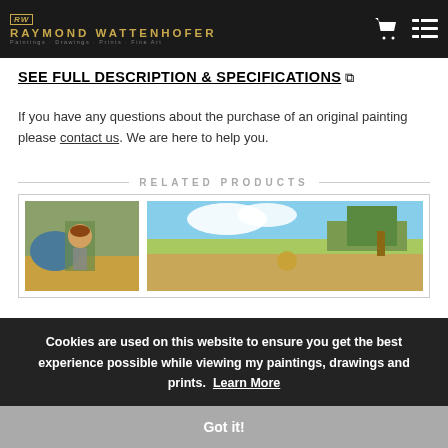RAYMOND WATTENHOFER
SEE FULL DESCRIPTION & SPECIFICATIONS
If you have any questions about the purchase of an original painting please contact us. We are here to help you.
RELATED PRODUCTS
[Figure (photo): Painting of a cowboy on a white horse in a field]
[Figure (photo): Painting of a cowboy in a wide landscape with mountains and clouds]
Cookies are used on this website to ensure you get the best experience possible while viewing my paintings, drawings and prints. Learn More
Got it!